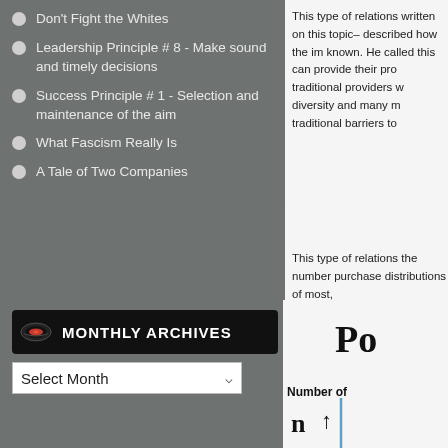Don't Fight the Whites
Leadership Principle # 8 - Make sound and timely decisions
Success Principle # 1 - Selection and maintenance of the aim
What Fascism Really Is
A Tale of Two Companies
MONTHLY ARCHIVES
Select Month
This type of relations written on this topic– described how the im known. He called this can provide their pro traditional providers w diversity and many m traditional barriers to
This type of relations the number purchase distributions of most,
[Figure (other): Partial view of a power law chart with title 'Po' visible, showing 'Number of' label and 'n' with upward arrow on y-axis, with a blue vertical line]